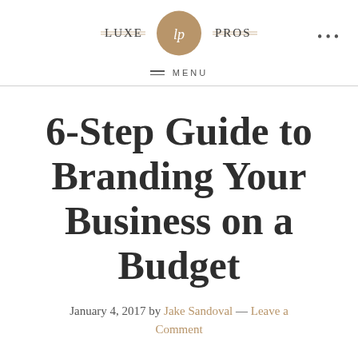LUXE lp PROS
MENU
6-Step Guide to Branding Your Business on a Budget
January 4, 2017 by Jake Sandoval — Leave a Comment